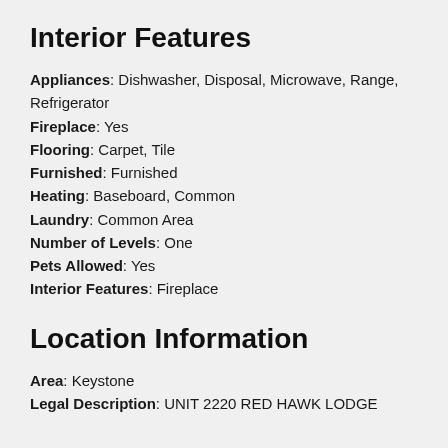Interior Features
Appliances: Dishwasher, Disposal, Microwave, Range, Refrigerator
Fireplace: Yes
Flooring: Carpet, Tile
Furnished: Furnished
Heating: Baseboard, Common
Laundry: Common Area
Number of Levels: One
Pets Allowed: Yes
Interior Features: Fireplace
Location Information
Area: Keystone
Legal Description: UNIT 2220 RED HAWK LODGE